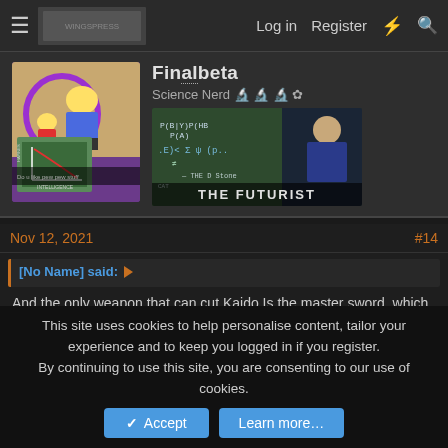Log in  Register
Finalbeta
Science Nerd 🔬🔬🔬 ✿
[Figure (screenshot): User avatar showing Simpsons scene with Homer and Lisa at a chalkboard showing HAPPINESS vs INTELLIGENCE graph, and user banner image showing 'THE FUTURIST' with Sheldon Cooper at a whiteboard with math equations.]
Nov 12, 2021
#14
[No Name] said:
And the only weapon that can cut Kaido Is the master sword, which is a sword the boosts the owner. So enma is doing all the work. Thank u
This site uses cookies to help personalise content, tailor your experience and to keep you logged in if you register.
By continuing to use this site, you are consenting to our use of cookies.
Accept
Learn more...